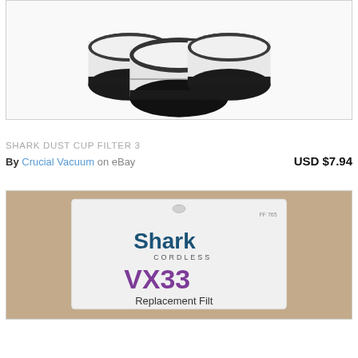[Figure (photo): Product photo showing three Shark dust cup filters (white with black trim) arranged together against a white background, inside a bordered product image box.]
SHARK DUST CUP FILTER 3
By Crucial Vacuum  on eBay     USD $7.94
[Figure (photo): Product photo showing a Shark Cordless VX33 Replacement Filter packaging card, placed on a beige/tan carpet background. The package shows 'Shark CORDLESS' logo and 'VX33 Replacement Filt...' text.]